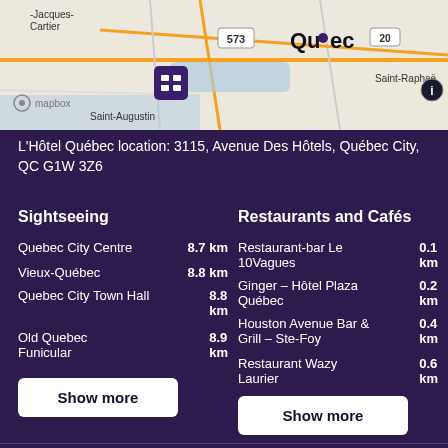[Figure (map): Mapbox map showing Quebec City area with hotel location marker. Labels visible: Jacques-Cartier, 573, Quebec, 20, Saint-Raphael, Saint-Augustin, mapbox logo. Hotel icon shown on map.]
L'Hôtel Québec location: 3115, Avenue Des Hôtels, Québec City, QC G1W 3Z6
Sightseeing
Quebec City Centre  8.7 km
Vieux-Québec  8.8 km
Quebec City Town Hall  8.8 km
Old Quebec Funicular  8.9 km
Show more
Restaurants and Cafés
Restaurant-bar Le 10Vagues  0.1 km
Ginger – Hôtel Plaza Québec  0.2 km
Houston Avenue Bar & Grill – Ste-Foy  0.4 km
Restaurant Wazy Laurier  0.6 km
Show more